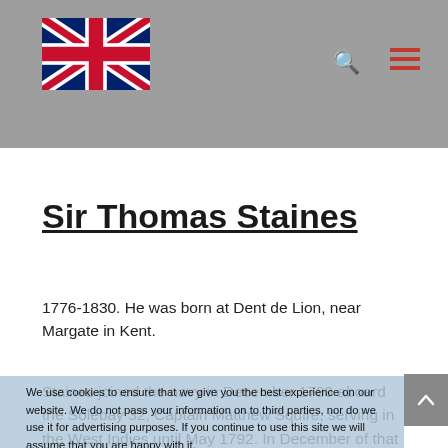Sir Thomas Staines - website with UK flag logo, search and menu icons
Sir Thomas Staines
1776-1830. He was born at Dent de Lion, near Margate in Kent.
Staines joined the navy in December 1789 aboard the Solebay 32, Captain Matthew Squire, serving in the West Indies until May 1792. In December of that year he took a berth upon the brig Speedy 14, Captain Charles Cunningham, going out to the Mediterranean, where he subsequently moved with
We use cookies to ensure that we give you the best experience on our website. We do not pass your information on to third parties, nor do we use it for advertising purposes. If you continue to use this site we will assume that you are happy with it.